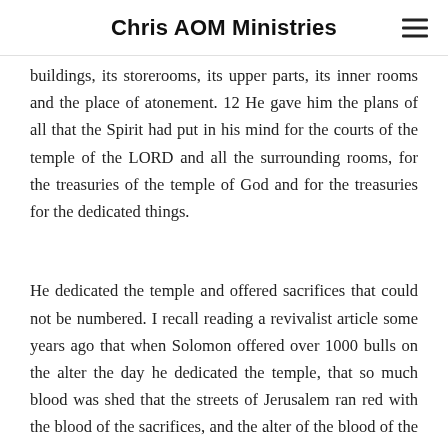Chris AOM Ministries
buildings, its storerooms, its upper parts, its inner rooms and the place of atonement. 12 He gave him the plans of all that the Spirit had put in his mind for the courts of the temple of the LORD and all the surrounding rooms, for the treasuries of the temple of God and for the treasuries for the dedicated things.
He dedicated the temple and offered sacrifices that could not be numbered. I recall reading a revivalist article some years ago that when Solomon offered over 1000 bulls on the alter the day he dedicated the temple, that so much blood was shed that the streets of Jerusalem ran red with the blood of the sacrifices, and the alter of the blood of the animals.